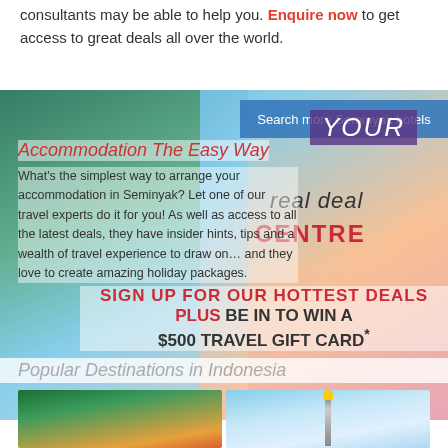consultants may be able to help you. Enquire now to get access to great deals all over the world.
[Figure (photo): Travel collage with tropical greenery, beach, and happy tourists]
Search more Seminyak hotels
YOUR real deal CENTRE
Accommodation The Easy Way
What's the simplest way to arrange your accommodation in Seminyak? Let one of our travel experts do it for you! As well as access to all the latest deals, they have insider hints, tips and a wealth of travel experience to draw on... and they love to create amazing holiday packages.
SIGN UP FOR OUR HOTTEST DEALS PLUS BE IN TO WIN A $500 TRAVEL GIFT CARD*
Popular Destinations in Indonesia
[Figure (photo): Tropical beach with palm tree at sunset]
[Figure (photo): Indonesian National Monument (Monas) in Jakarta against blue sky]